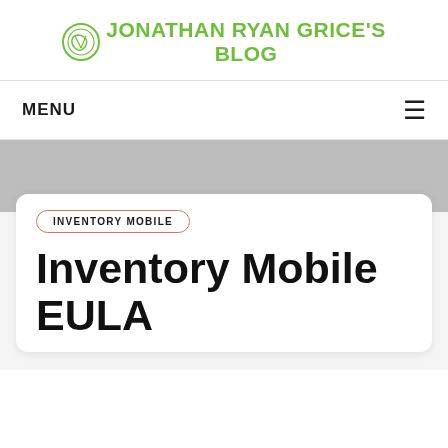JONATHAN RYAN GRICE'S BLOG
MENU
INVENTORY MOBILE
Inventory Mobile EULA